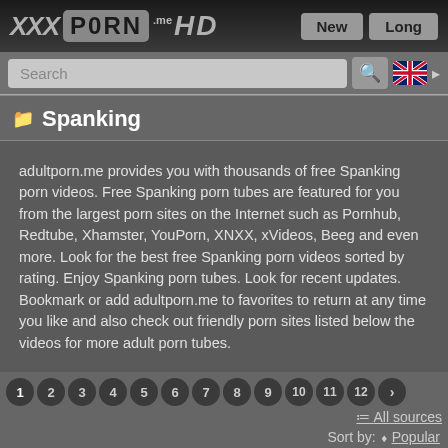XXX PORN .me HD | New | Long
Search
📁 Spanking
adultporn.me provides you with thousands of free Spanking porn videos. Free Spanking porn tubes are featured for you from the largest porn sites on the Internet such as Pornhub, Redtube, Xhamster, YouPorn, XNXX, xVideos, Beeg and even more. Look for the best free Spanking porn videos sorted by rating. Enjoy Spanking porn tubes. Look for recent updates. Bookmark or add adultporn.me to favorites to return at any time you like and also check out friendly porn sites listed below the videos for more adult porn tubes.
1 2 3 4 5 6 7 8 9 10 11 12 > All sources Sort by: Popular
Related: Spanking   spanking spanked   spanked